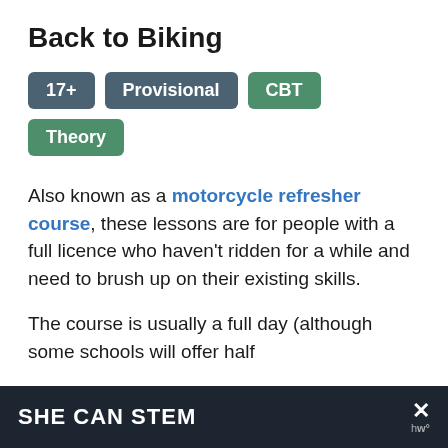Back to Biking
17+
Provisional
CBT
Theory
Also known as a motorcycle refresher course, these lessons are for people with a full licence who haven't ridden for a while and need to brush up on their existing skills.
The course is usually a full day (although some schools will offer half
SHE CAN STEM